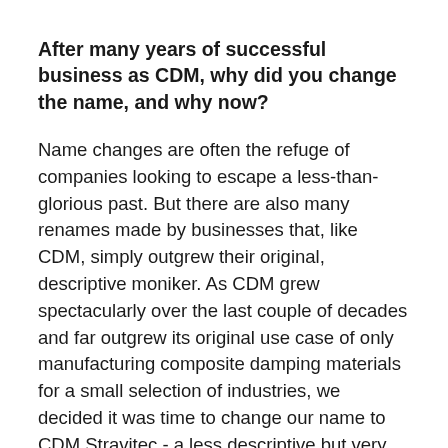After many years of successful business as CDM, why did you change the name, and why now?
Name changes are often the refuge of companies looking to escape a less-than-glorious past. But there are also many renames made by businesses that, like CDM, simply outgrew their original, descriptive moniker. As CDM grew spectacularly over the last couple of decades and far outgrew its original use case of only manufacturing composite damping materials for a small selection of industries, we decided it was time to change our name to CDM Stravitec - a less descriptive but very fitting and inspired choice that allowed the brand to expand into a wide variety of operations.